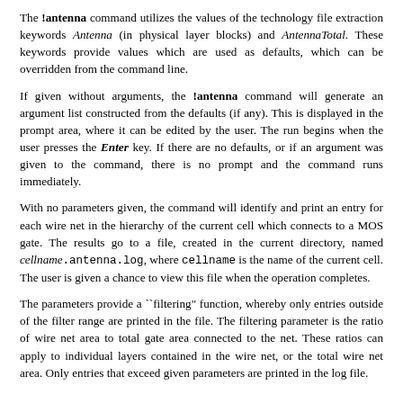The !antenna command utilizes the values of the technology file extraction keywords Antenna (in physical layer blocks) and AntennaTotal. These keywords provide values which are used as defaults, which can be overridden from the command line.
If given without arguments, the !antenna command will generate an argument list constructed from the defaults (if any). This is displayed in the prompt area, where it can be edited by the user. The run begins when the user presses the Enter key. If there are no defaults, or if an argument was given to the command, there is no prompt and the command runs immediately.
With no parameters given, the command will identify and print an entry for each wire net in the hierarchy of the current cell which connects to a MOS gate. The results go to a file, created in the current directory, named cellname.antenna.log, where cellname is the name of the current cell. The user is given a chance to view this file when the operation completes.
The parameters provide a ``filtering" function, whereby only entries outside of the filter range are printed in the file. The filtering parameter is the ratio of wire net area to total gate area connected to the net. These ratios can apply to individual layers contained in the wire net, or the total wire net area. Only entries that exceed given parameters are printed in the log file.